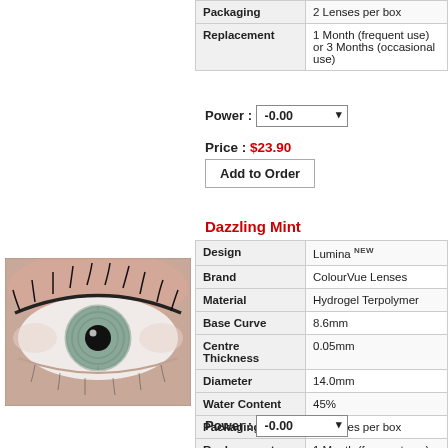| Property | Value |
| --- | --- |
| Packaging | 2 Lenses per box |
| Replacement | 1 Month (frequent use) or 3 Months (occasional use) |
Power : -0.00
Price : $23.90
Add to Order
Dazzling Mint
[Figure (photo): Close-up of an eye with a mint/grey-green coloured contact lens]
| Property | Value |
| --- | --- |
| Design | Lumina NEW |
| Brand | ColourVue Lenses |
| Material | Hydrogel Terpolymer |
| Base Curve | 8.6mm |
| Centre Thickness | 0.05mm |
| Diameter | 14.0mm |
| Water Content | 45% |
| Packaging | 2 Lenses per box |
| Replacement | 1 Month (frequent use) or 3 Months (occasional use) |
Power : -0.00